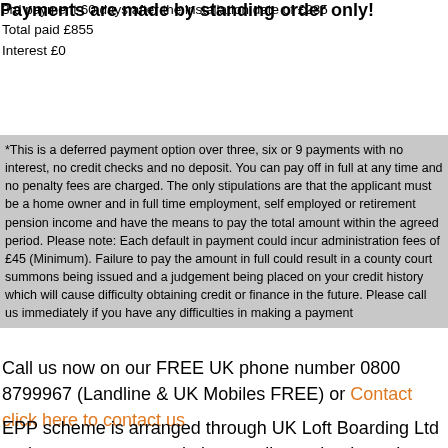3rd payment 60 days after the installation date of £285
Total paid £855
Interest £0
Payments are made by standing order only!
*This is a deferred payment option over three, six or 9 payments with no interest, no credit checks and no deposit. You can pay off in full at any time and no penalty fees are charged. The only stipulations are that the applicant must be a home owner and in full time employment, self employed or retirement pension income and have the means to pay the total amount within the agreed period. Please note: Each default in payment could incur administration fees of £45 (Minimum). Failure to pay the amount in full could result in a county court summons being issued and a judgement being placed on your credit history which will cause difficulty obtaining credit or finance in the future. Please call us immediately if you have any difficulties in making a payment
Call us now on our FREE UK phone number 0800 8799967 (Landline & UK Mobiles FREE) or Contact click here to contact us
EPP scheme is arranged through UK Loft Boarding Ltd and payments are made by standing order through your bank, so